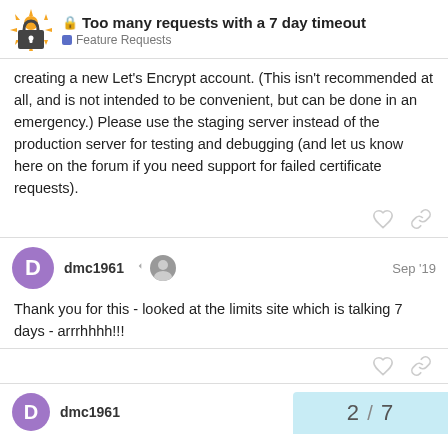Too many requests with a 7 day timeout — Feature Requests
creating a new Let's Encrypt account. (This isn't recommended at all, and is not intended to be convenient, but can be done in an emergency.) Please use the staging server instead of the production server for testing and debugging (and let us know here on the forum if you need support for failed certificate requests).
dmc1961  Sep '19
Thank you for this - looked at the limits site which is talking 7 days - arrrhh!!!
dmc1961  2 / 7